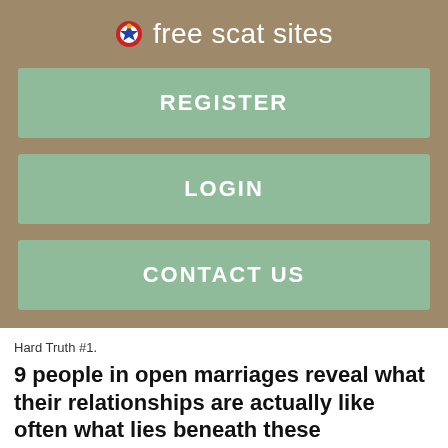free scat sites
REGISTER
LOGIN
CONTACT US
Hard Truth #1.
9 people in open marriages reveal what their relationships are actually like often what lies beneath these complaints is a raw sense of fear, sadness, and hopelessness.
Kids, careers, soccer practice, tax returns, and peeing with the door open. Saratoga WY sex dating many survivors of sexual abuse report that the perpetrator participated that that